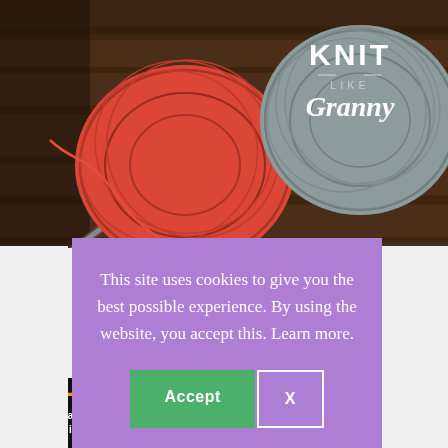[Figure (photo): Photo of colorful yarn balls (red and gray/blue) with knitting needles on a wooden surface, with 'KNIT LIKE Granny' text overlay in white]
This site uses cookies to give you the best possible experience. By using the website, you accept this. Learn more.
[Figure (screenshot): Cookie consent modal with purple background, containing message text and Accept / X buttons]
[Figure (infographic): Advertisement banner: '43 CHILDREN A Day Are Diagnosed With Cancer in the U.S.' with cookies for kids' cancer and Let's Get Baking on black background]